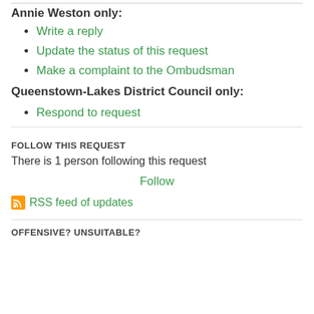Annie Weston only:
Write a reply
Update the status of this request
Make a complaint to the Ombudsman
Queenstown-Lakes District Council only:
Respond to request
FOLLOW THIS REQUEST
There is 1 person following this request
Follow
RSS feed of updates
OFFENSIVE? UNSUITABLE?